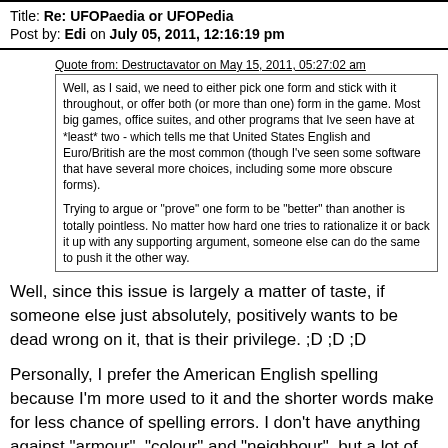Title: Re: UFOPaedia or UFOPedia
Post by: Edi on July 05, 2011, 12:16:19 pm
Quote from: Destructavator on May 15, 2011, 05:27:02 am
Well, as I said, we need to either pick one form and stick with it throughout, or offer both (or more than one) form in the game. Most big games, office suites, and other programs that Ive seen have at *least* two - which tells me that United States English and Euro/British are the most common (though I've seen some software that have several more choices, including some more obscure forms).

Trying to argue or "prove" one form to be "better" than another is totally pointless. No matter how hard one tries to rationalize it or back it up with any supporting argument, someone else can do the same to push it the other way.
Well, since this issue is largely a matter of taste, if someone else just absolutely, positively wants to be dead wrong on it, that is their privilege.  ;D ;D ;D
Personally, I prefer the American English spelling because I'm more used to it and the shorter words make for less chance of spelling errors. I don't have anything against "armour", "colour" and "neighbour", but a lot of the other ones that add the u are annoying as all hell.
If separate language settings for English US and English UK are not too difficult to do, might as well implement them.
Title: Re: UFOPaedia or UFOPedia
Post by: jerikojerk on September 02, 2011, 10:25:41 pm